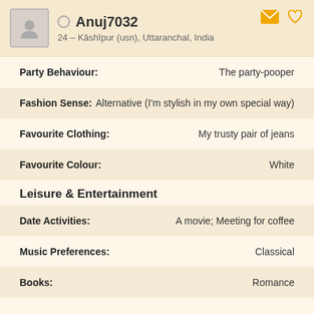Anuj7032 – 24 – Kâshîpur (usn), Uttaranchal, India
| Attribute | Value |
| --- | --- |
| Party Behaviour: | The party-pooper |
| Fashion Sense: | Alternative (I'm stylish in my own special way) |
| Favourite Clothing: | My trusty pair of jeans |
| Favourite Colour: | White |
Leisure & Entertainment
| Attribute | Value |
| --- | --- |
| Date Activities: | A movie; Meeting for coffee |
| Music Preferences: | Classical |
| Books: | Romance |